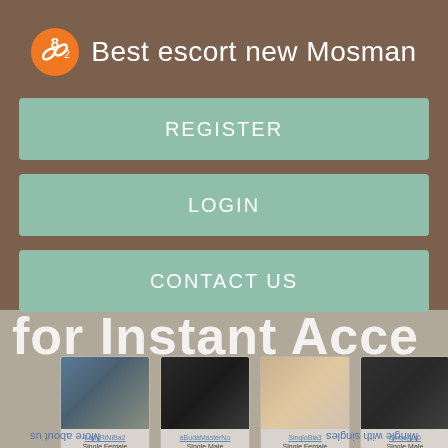Best escort new Mosman
REGISTER
LOGIN
CONTACT US
[Figure (screenshot): Background screenshot of a dating/singles website showing 'for Instant Acce' text, four profile photo thumbnails with captions, and reversed bottom navigation links 'More about us' and 'Mingle with singles']